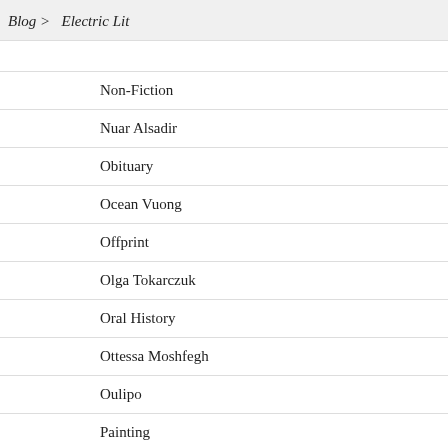Blog > Electric Lit
Non-Fiction
Nuar Alsadir
Obituary
Ocean Vuong
Offprint
Olga Tokarczuk
Oral History
Ottessa Moshfegh
Oulipo
Painting